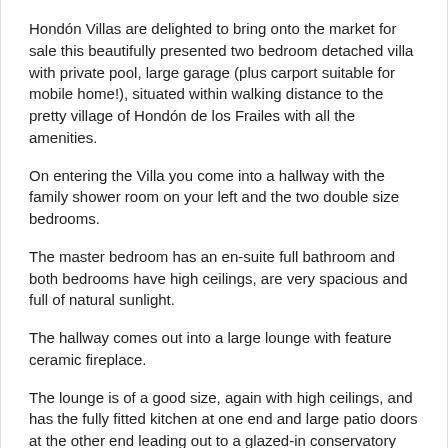Hondón Villas are delighted to bring onto the market for sale this beautifully presented two bedroom detached villa with private pool, large garage (plus carport suitable for mobile home!), situated within walking distance to the pretty village of Hondón de los Frailes with all the amenities.
On entering the Villa you come into a hallway with the family shower room on your left and the two double size bedrooms.
The master bedroom has an en-suite full bathroom and both bedrooms have high ceilings, are very spacious and full of natural sunlight.
The hallway comes out into a large lounge with feature ceramic fireplace.
The lounge is of a good size, again with high ceilings, and has the fully fitted kitchen at one end and large patio doors at the other end leading out to a glazed-in conservatory that could be turned into a third bedroom if desired.
The property benefits from oil central heating throughout and hot/cold air conditioning.